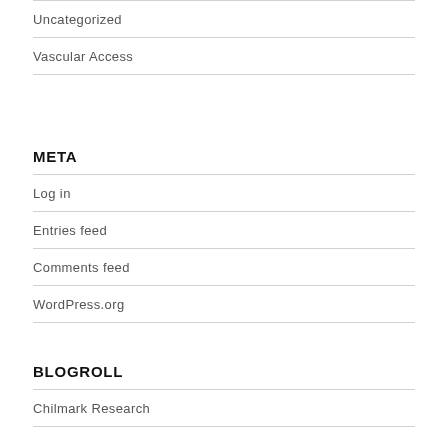Uncategorized
Vascular Access
META
Log in
Entries feed
Comments feed
WordPress.org
BLOGROLL
Chilmark Research